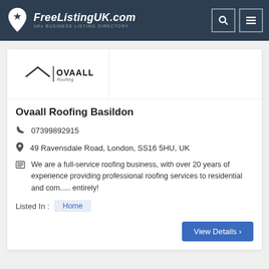FreeListingUK.com — UKs BUSINESS LISTING DIRECTORY
[Figure (logo): Ovaall Roofing company logo — rooftop outline with OVAALL Roofing text]
Ovaall Roofing Basildon
07399892915
49 Ravensdale Road, London, SS16 5HU, UK
We are a full-service roofing business, with over 20 years of experience providing professional roofing services to residential and com..... entirely!
Listed In : Home
View Details >